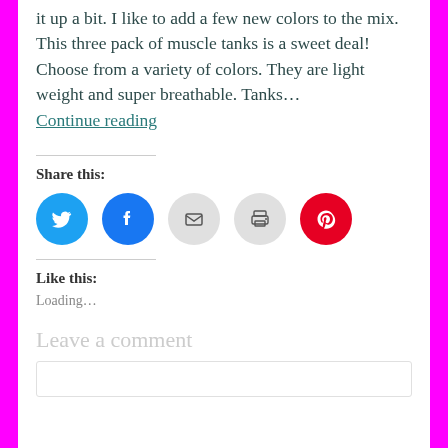it up a bit. I like to add a few new colors to the mix. This three pack of muscle tanks is a sweet deal! Choose from a variety of colors. They are light weight and super breathable. Tanks…
Continue reading
Share this:
[Figure (other): Social sharing icons: Twitter (blue circle), Facebook (blue circle), Email (grey circle), Print (grey circle), Pinterest (red circle)]
Like this:
Loading…
Leave a comment